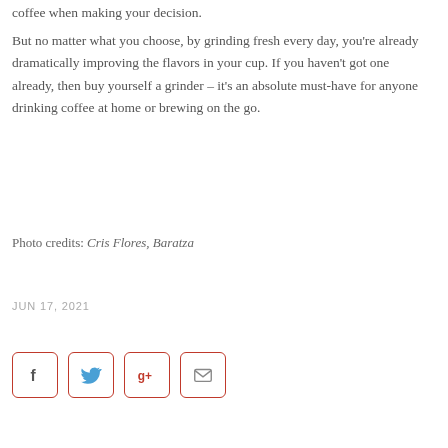coffee when making your decision.
But no matter what you choose, by grinding fresh every day, you're already dramatically improving the flavors in your cup. If you haven't got one already, then buy yourself a grinder – it's an absolute must-have for anyone drinking coffee at home or brewing on the go.
Photo credits: Cris Flores, Baratza
JUN 17, 2021
[Figure (other): Social sharing buttons: Facebook, Twitter, Google+, Email]